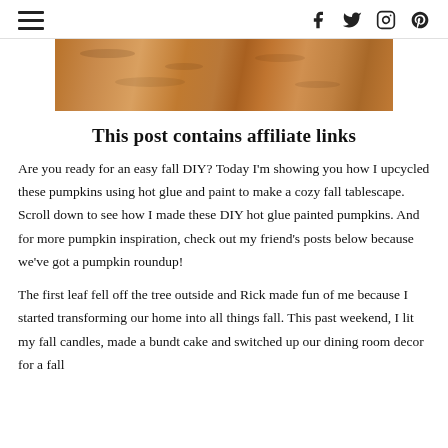≡  f  𝕏  ◻  ⊕
[Figure (photo): Close-up photo of a rustic wooden surface with natural wood grain texture in warm brown tones]
This post contains affiliate links
Are you ready for an easy fall DIY? Today I'm showing you how I upcycled these pumpkins using hot glue and paint to make a cozy fall tablescape. Scroll down to see how I made these DIY hot glue painted pumpkins. And for more pumpkin inspiration, check out my friend's posts below because we've got a pumpkin roundup!
The first leaf fell off the tree outside and Rick made fun of me because I started transforming our home into all things fall. This past weekend, I lit my fall candles, made a bundt cake and switched up our dining room decor for a fall